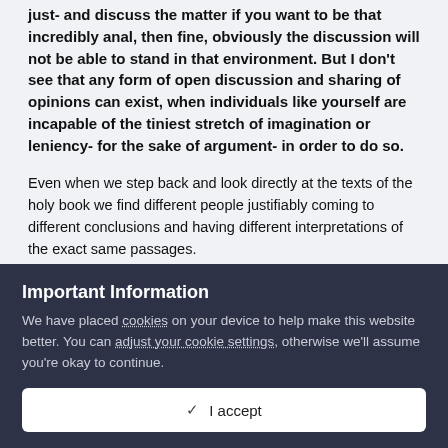just- and discuss the matter if you want to be that incredibly anal, then fine, obviously the discussion will not be able to stand in that environment. But I don't see that any form of open discussion and sharing of opinions can exist, when individuals like yourself are incapable of the tiniest stretch of imagination or leniency- for the sake of argument- in order to do so.
Even when we step back and look directly at the texts of the holy book we find different people justifiably coming to different conclusions and having different interpretations of the exact same passages.
Yes, religion is baseless, none of it is proven, it all
Important Information
We have placed cookies on your device to help make this website better. You can adjust your cookie settings, otherwise we'll assume you're okay to continue.
✓  I accept